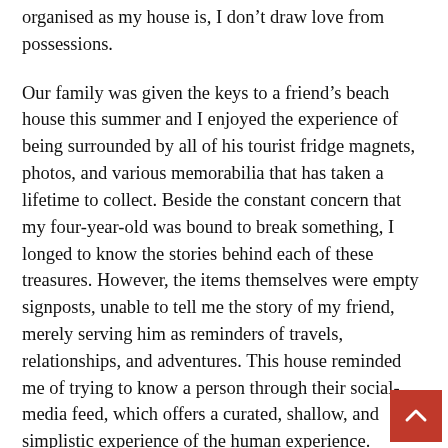organised as my house is, I don't draw love from possessions.
Our family was given the keys to a friend's beach house this summer and I enjoyed the experience of being surrounded by all of his tourist fridge magnets, photos, and various memorabilia that has taken a lifetime to collect. Beside the constant concern that my four-year-old was bound to break something, I longed to know the stories behind each of these treasures. However, the items themselves were empty signposts, unable to tell me the story of my friend, merely serving him as reminders of travels, relationships, and adventures. This house reminded me of trying to know a person through their social-media feed, which offers a curated, shallow, and simplistic experience of the human experience.